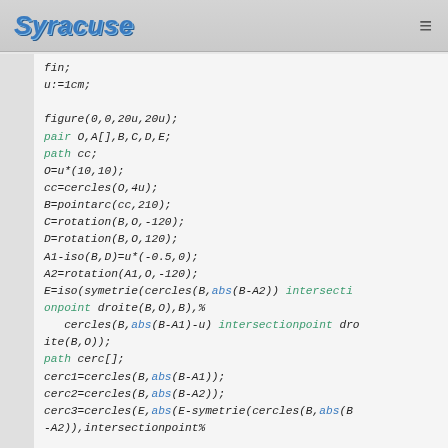Syracuse
fin;
u:=1cm;

figure(0,0,20u,20u);
pair O,A[],B,C,D,E;
path cc;
O=u*(10,10);
cc=cercles(O,4u);
B=pointarc(cc,210);
C=rotation(B,O,-120);
D=rotation(B,O,120);
A1-iso(B,D)=u*(-0.5,0);
A2=rotation(A1,O,-120);
E=iso(symetrie(cercles(B,abs(B-A2)) intersectionpoint droite(B,O),B),%
   cercles(B,abs(B-A1)-u) intersectionpoint droite(B,O));
path cerc[];
cerc1=cercles(B,abs(B-A1));
cerc2=cercles(B,abs(B-A2));
cerc3=cercles(E,abs(E-symetrie(cercles(B,abs(B-A2)),intersectionpoint%